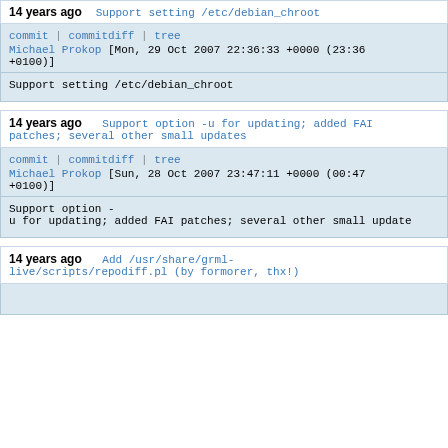14 years ago   Support setting /etc/debian_chroot
commit | commitdiff | tree
Michael Prokop [Mon, 29 Oct 2007 22:36:33 +0000 (23:36 +0100)]
Support setting /etc/debian_chroot
14 years ago   Support option -u for updating; added FAI patches; several other small updates
commit | commitdiff | tree
Michael Prokop [Sun, 28 Oct 2007 23:47:11 +0000 (00:47 +0100)]
Support option -
u for updating; added FAI patches; several other small update
14 years ago   Add /usr/share/grml-live/scripts/repodiff.pl (by formorer, thx!)